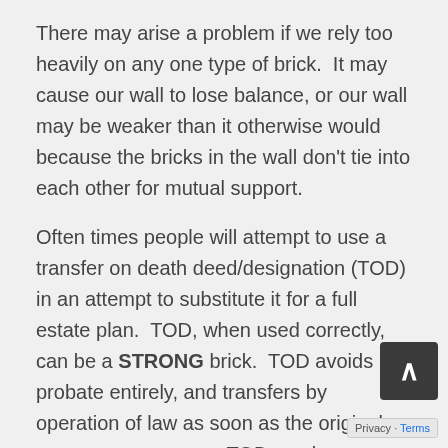There may arise a problem if we rely too heavily on any one type of brick.  It may cause our wall to lose balance, or our wall may be weaker than it otherwise would because the bricks in the wall don't tie into each other for mutual support.
Often times people will attempt to use a transfer on death deed/designation (TOD) in an attempt to substitute it for a full estate plan.  TOD, when used correctly, can be a STRONG brick.  TOD avoids probate entirely, and transfers by operation of law as soon as the original owner passes away.  TOD can be accomplished cheaply, often it can be accomplished without the assistance of an attorney.  TOD has a lot of drawbacks too, to name a few.  TOD doesn't give you any control over the